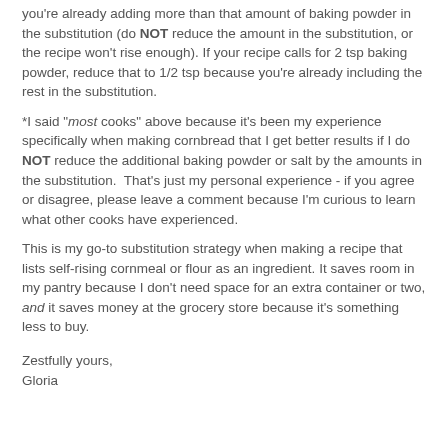you're already adding more than that amount of baking powder in the substitution (do NOT reduce the amount in the substitution, or the recipe won't rise enough). If your recipe calls for 2 tsp baking powder, reduce that to 1/2 tsp because you're already including the rest in the substitution.
*I said "most cooks" above because it's been my experience specifically when making cornbread that I get better results if I do NOT reduce the additional baking powder or salt by the amounts in the substitution.  That's just my personal experience - if you agree or disagree, please leave a comment because I'm curious to learn what other cooks have experienced.
This is my go-to substitution strategy when making a recipe that lists self-rising cornmeal or flour as an ingredient. It saves room in my pantry because I don't need space for an extra container or two, and it saves money at the grocery store because it's something less to buy.
Zestfully yours,
Gloria